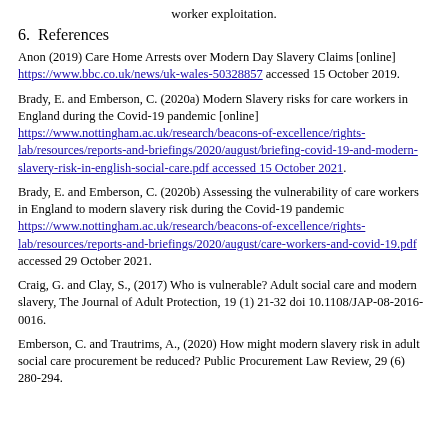worker exploitation.
6.  References
Anon (2019) Care Home Arrests over Modern Day Slavery Claims [online] https://www.bbc.co.uk/news/uk-wales-50328857 accessed 15 October 2019.
Brady, E. and Emberson, C. (2020a) Modern Slavery risks for care workers in England during the Covid-19 pandemic [online] https://www.nottingham.ac.uk/research/beacons-of-excellence/rights-lab/resources/reports-and-briefings/2020/august/briefing-covid-19-and-modern-slavery-risk-in-english-social-care.pdf accessed 15 October 2021.
Brady, E. and Emberson, C. (2020b) Assessing the vulnerability of care workers in England to modern slavery risk during the Covid-19 pandemic https://www.nottingham.ac.uk/research/beacons-of-excellence/rights-lab/resources/reports-and-briefings/2020/august/care-workers-and-covid-19.pdf accessed 29 October 2021.
Craig, G. and Clay, S., (2017) Who is vulnerable? Adult social care and modern slavery, The Journal of Adult Protection, 19 (1) 21-32 doi 10.1108/JAP-08-2016-0016.
Emberson, C. and Trautrims, A., (2020) How might modern slavery risk in adult social care procurement be reduced? Public Procurement Law Review, 29 (6) 280-294.